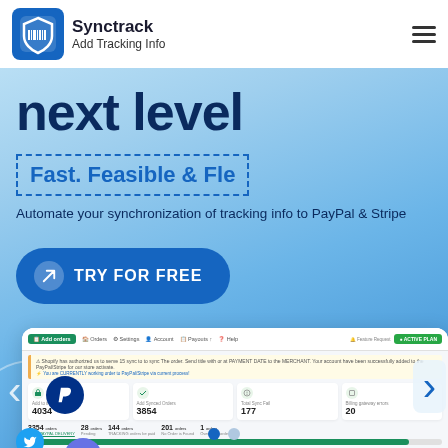Synctrack Add Tracking Info
next level
Fast. Feasible & Fle[xible]
Automate your synchronization of tracking info to PayPal & Stripe
TRY FOR FREE
[Figure (screenshot): Dashboard screenshot showing tracking info sync interface with stats: 4034 total tracked orders, 3854 total synced orders, 177 total sync fail, 20 billing/gateway errors. Filter tabs showing 3354 orders (BEST PAYPAL DELIVERY), 28 orders (Pending), 144 orders (TRACKING orders be paid), 201 orders (No Order is Found), 1 order (Over 1000 order plan). Progress bar at 92%. Two rows showing paypal orders with tracking numbers and Completed status.]